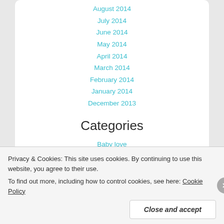August 2014
July 2014
June 2014
May 2014
April 2014
March 2014
February 2014
January 2014
December 2013
November 2013
Categories
Baby love
Baby update!
Basic info
Privacy & Cookies: This site uses cookies. By continuing to use this website, you agree to their use.
To find out more, including how to control cookies, see here: Cookie Policy
Close and accept